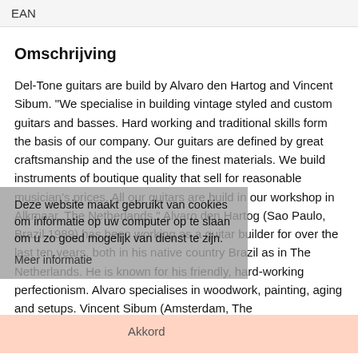EAN
Omschrijving
Del-Tone guitars are build by Alvaro den Hartog and Vincent Sibum. "We specialise in building vintage styled and custom guitars and basses. Hard working and traditional skills form the basis of our company. Our guitars are defined by great craftsmanship and the use of the finest materials. We build instruments of boutique quality that sell for reasonable musician's prices. All our guitars are build in our workshop in Alkmaar, The Netherlands." Alvaro den Hartog (Sao Paulo, Brazil 1989) has been working as a guitar builder for over the last ten years, both in his native country Brazil as in The Netherlands. He is known for his friendly, hard-working perfectionism. Alvaro specialises in woodwork, painting, aging and setups. Vincent Sibum (Amsterdam, The
Deze website maakt gebruikt van cookies om informatie op uw computer op te slaan om u zo goed mogelijk van dienst te zijn. Meer informatie
Akkord